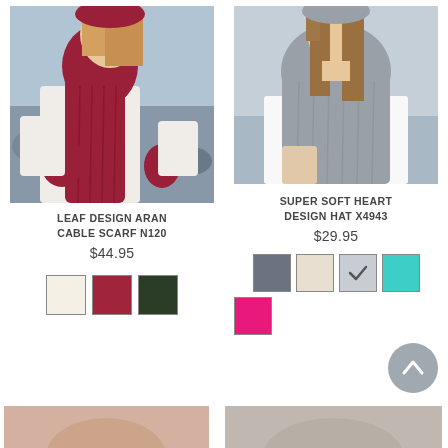[Figure (photo): Woman wearing a dark crimson/burgundy leaf design aran cable knit scarf and mittens with white sweater, outdoor rocky beach background]
LEAF DESIGN ARAN CABLE SCARF N120
$44.95
[Figure (infographic): Color swatches: cream, crimson, dark green]
[Figure (photo): Woman wearing a gray super soft heart design hat and gray cable knit scarf/shawl, outdoor background]
SUPER SOFT HEART DESIGN HAT X4943
$29.95
[Figure (infographic): Color swatches: gray, beige, light gray (selected/checked), teal, pink]